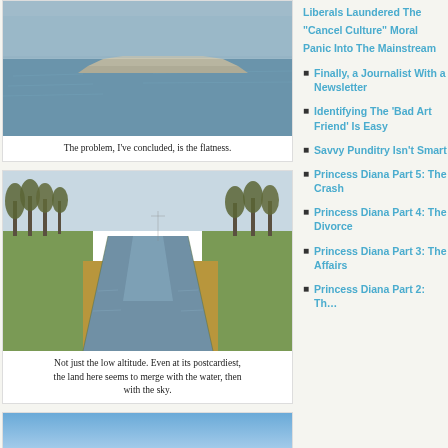[Figure (photo): Flat water with a long concrete dock/pier extending into the distance, grey overcast sky]
The problem, I've concluded, is the flatness.
[Figure (photo): Canal or waterway through flat land with trees and reed grass on both sides, reflections in water, overcast sky]
Not just the low altitude. Even at its postcardiest, the land here seems to merge with the water, then with the sky.
[Figure (photo): Blue sky with haze, partial view cropped at bottom of page]
Liberals Laundered The “Cancel Culture” Moral Panic Into The Mainstream
Finally, a Journalist With a Newsletter
Identifying The ‘Bad Art Friend’ Is Easy
Savvy Punditry Isn’t Smart
Princess Diana Part 5: The Crash
Princess Diana Part 4: The Divorce
Princess Diana Part 3: The Affairs
Princess Diana Part 2: Th…